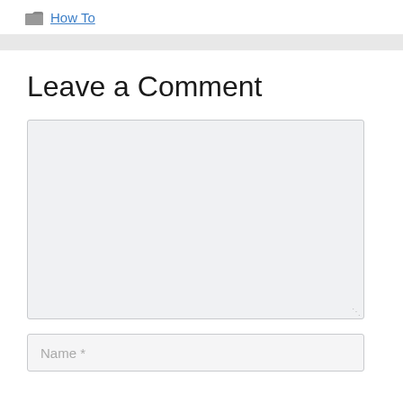How To
Leave a Comment
[Figure (screenshot): Comment textarea input field (empty, light gray background)]
Name *